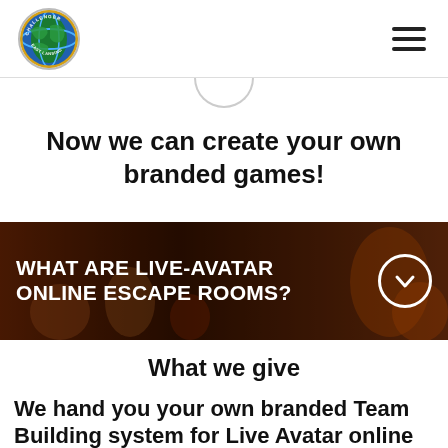[Figure (logo): Challenger East Lansing circular logo with globe/world map design in green, blue, and yellow]
Now we can create your own branded games!
[Figure (infographic): Dark banner with crowd/escape room background image showing text: WHAT ARE LIVE-AVATAR ONLINE ESCAPE ROOMS? with a white circle chevron down icon on the right]
What we give
We hand you your own branded Team Building system for Live Avatar online